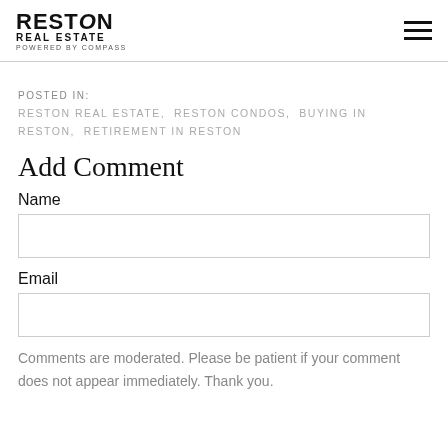RESTON REAL ESTATE POWERED BY COMPASS
POSTED IN:
RESTON REAL ESTATE, RESTON CONDOS, BUYING IN RESTON, RETIREMENT IN RESTON
Add Comment
Name
Email
Comments are moderated. Please be patient if your comment does not appear immediately. Thank you.